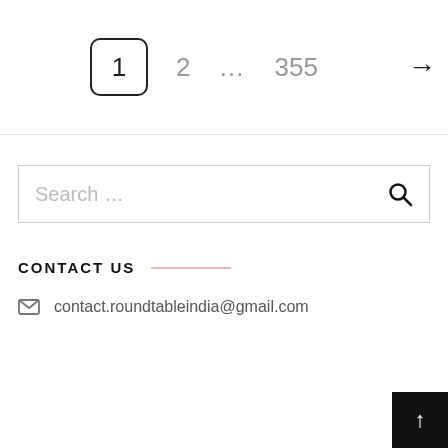[Figure (other): Pagination control showing page 1 selected in a box, followed by page 2, ellipsis, page 355, and a right arrow]
[Figure (other): Search input box with placeholder text 'Search ...' and a search magnifier icon on the right]
CONTACT US
contact.roundtableindia@gmail.com